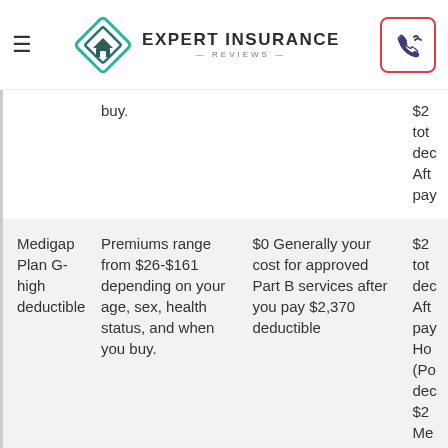Expert Insurance Reviews
| Plan | Premium | Part B Cost | Other Costs |
| --- | --- | --- | --- |
|  | buy. | buy. | $2 tot dec Aft pay Ho (Po dec $2 Me (Po dec |
| Medigap Plan G-high deductible | Premiums range from $26-$161 depending on your age, sex, health status, and when you buy. | $0 Generally your cost for approved Part B services after you pay $2,370 deductible | $2 tot dec Aft pay Ho (Po dec $2 Me (Po dec |
|  | Premiums | 10% Generally | $7 of |